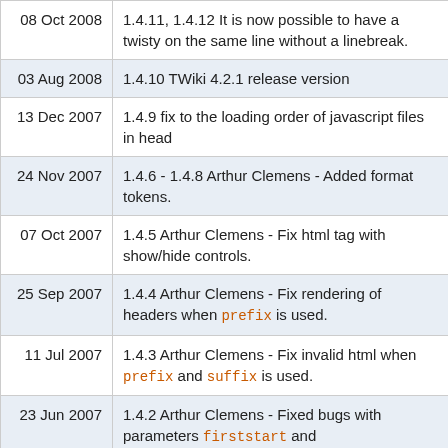| Date | Description |
| --- | --- |
| 08 Oct 2008 | 1.4.11, 1.4.12 It is now possible to have a twisty on the same line without a linebreak. |
| 03 Aug 2008 | 1.4.10 TWiki 4.2.1 release version |
| 13 Dec 2007 | 1.4.9 fix to the loading order of javascript files in head |
| 24 Nov 2007 | 1.4.6 - 1.4.8 Arthur Clemens - Added format tokens. |
| 07 Oct 2007 | 1.4.5 Arthur Clemens - Fix html tag with show/hide controls. |
| 25 Sep 2007 | 1.4.4 Arthur Clemens - Fix rendering of headers when prefix is used. |
| 11 Jul 2007 | 1.4.3 Arthur Clemens - Fix invalid html when prefix and suffix is used. |
| 23 Jun 2007 | 1.4.2 Arthur Clemens - Fixed bugs with parameters firststart and |